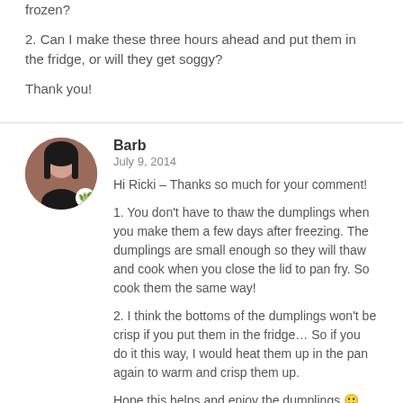frozen?
2. Can I make these three hours ahead and put them in the fridge, or will they get soggy?
Thank you!
Barb
July 9, 2014
Hi Ricki – Thanks so much for your comment!
1. You don't have to thaw the dumplings when you make them a few days after freezing. The dumplings are small enough so they will thaw and cook when you close the lid to pan fry. So cook them the same way!
2. I think the bottoms of the dumplings won't be crisp if you put them in the fridge… So if you do it this way, I would heat them up in the pan again to warm and crisp them up.
Hope this helps and enjoy the dumplings 🙂
Ricki
July 9, 2014